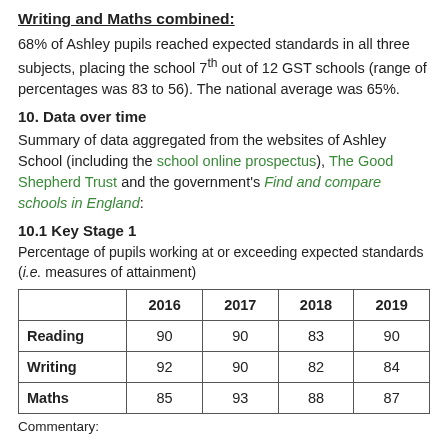Writing and Maths combined:
68% of Ashley pupils reached expected standards in all three subjects, placing the school 7th out of 12 GST schools (range of percentages was 83 to 56). The national average was 65%.
10. Data over time
Summary of data aggregated from the websites of Ashley School (including the school online prospectus), The Good Shepherd Trust and the government's Find and compare schools in England:
10.1 Key Stage 1
Percentage of pupils working at or exceeding expected standards (i.e. measures of attainment)
|  | 2016 | 2017 | 2018 | 2019 |
| --- | --- | --- | --- | --- |
| Reading | 90 | 90 | 83 | 90 |
| Writing | 92 | 90 | 82 | 84 |
| Maths | 85 | 93 | 88 | 87 |
Commentary: